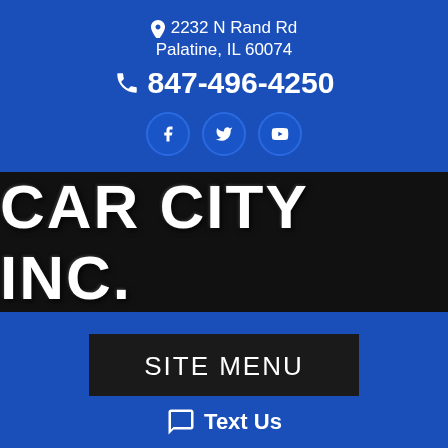📍 2232 N Rand Rd Palatine, IL 60074
📞 847-496-4250
[Figure (other): Social media icons: Facebook, Twitter, YouTube]
CAR CITY INC.
SITE MENU
← Return to Inventory List
CLEAN CARFAX! DIESEL-GAS SAVER! LOW MILES!
💬 Text Us